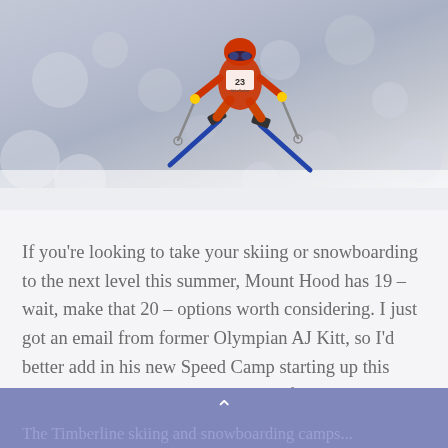[Figure (photo): A skier in mid-air wearing an orange/red suit with number 23, skiing down a snowy slope. The background is a blurred snowy/grey scene.]
If you’re looking to take your skiing or snowboarding to the next level this summer, Mount Hood has 19 – wait, make that 20 – options worth considering. I just got an email from former Olympian AJ Kitt, so I’d better add in his new Speed Camp starting up this summer. Scroll down to number 20 for details.
The Timberline skiing and snowboarding camps...